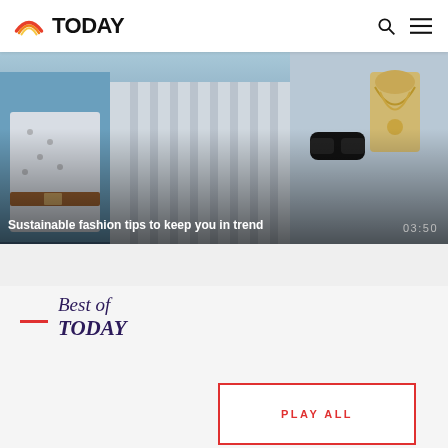TODAY
[Figure (photo): Video thumbnail showing clothing items on display — a white patterned top, accessories, jewelry on a mannequin neck. Overlay text reads 'Sustainable fashion tips to keep you in trend' with duration '03:50'.]
Sustainable fashion tips to keep you in trend  03:50
Best of TODAY
PLAY ALL